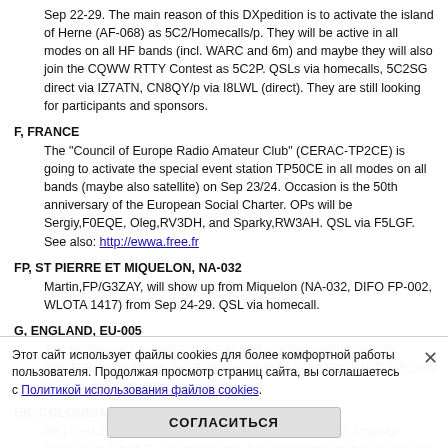Sep 22-29. The main reason of this DXpedition is to activate the island of Herne (AF-068) as 5C2/Homecalls/p. They will be active in all modes on all HF bands (incl. WARC and 6m) and maybe they will also join the CQWW RTTY Contest as 5C2P. QSLs via homecalls, 5C2SG direct via IZ7ATN, CN8QY/p via I8LWL (direct). They are still looking for participants and sponsors.
F, FRANCE
The "Council of Europe Radio Amateur Club" (CERAC-TP2CE) is going to activate the special event station TP50CE in all modes on all bands (maybe also satellite) on Sep 23/24. Occasion is the 50th anniversary of the European Social Charter. OPs will be Sergiy,F0EQE, Oleg,RV3DH, and Sparky,RW3AH. QSL via F5LGF. See also: http://ewwa.free.fr
FP, ST PIERRE ET MIQUELON, NA-032
Martin,FP/G3ZAY, will show up from Miquelon (NA-032, DIFO FP-002, WLOTA 1417) from Sep 24-29. QSL via homecall.
G, ENGLAND, EU-005
The Southgate Amateur Radio Club will use the special callsign GB0TLR which stands for "Railways on the Air" on Sep 24/25. QSL via M0XDS. Internet: http://rota.m0php.net
HK, COLOMBIA
HK1T, HK1W, HK1AA, HK3TU, HK1N, HK1R of the DX Amateur Radio Club DXARC will activate the Jumanji contest station as HK1NA during the CQWW RTTY Contest. QSLs via K6IPM.
HL, SOUTH KOREA
Don,KC6STQ, is working as HL2/KC6STQ on HF. QSL via homecall (direct).
J2, DJIBOUTI
Internet: http://...
LX, LUXEMBOURG
Several OPs will sign LX7I in the ... st. QSLs via LX2A. See also: http://www.lx2a.com/lx...